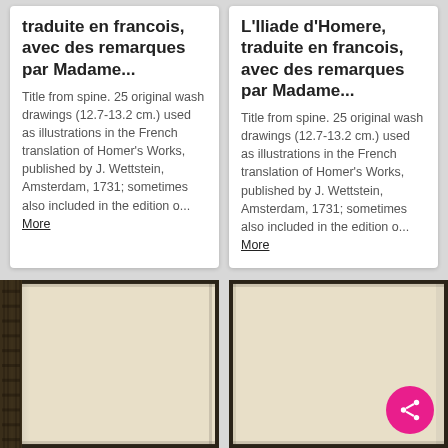traduite en francois, avec des remarques par Madame...
Title from spine. 25 original wash drawings (12.7-13.2 cm.) used as illustrations in the French translation of Homer's Works, published by J. Wettstein, Amsterdam, 1731; sometimes also included in the edition o... More
L'Iliade d'Homere, traduite en francois, avec des remarques par Madame...
Title from spine. 25 original wash drawings (12.7-13.2 cm.) used as illustrations in the French translation of Homer's Works, published by J. Wettstein, Amsterdam, 1731; sometimes also included in the edition o... More
[Figure (photo): Open book showing blank cream/parchment pages with dark decorative binding visible on left spine]
[Figure (photo): Open book showing blank cream/parchment pages, right side, with dark binding]